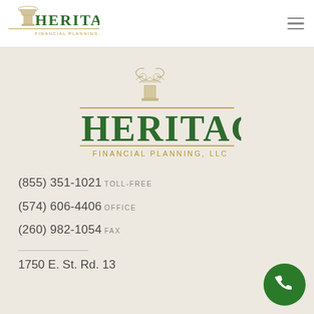[Figure (logo): Heritage Financial Planning LLC logo - small version in header with column capital icon and green text]
[Figure (logo): Heritage Financial Planning LLC logo - large centered version with column capital icon, green HERITAGE text, gold line, and FINANCIAL PLANNING, LLC subtitle]
(855) 351-1021 TOLL-FREE
(574) 606-4406 OFFICE
(260) 982-1054 FAX
1750 E. St. Rd. 13